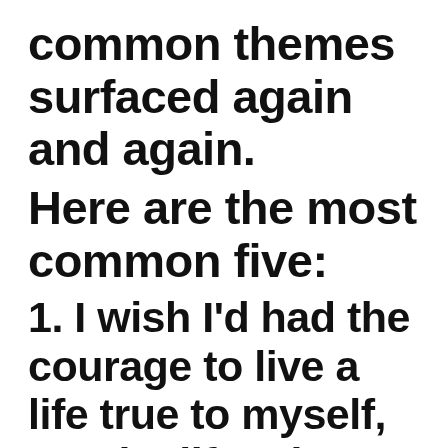common themes surfaced again and again.
Here are the most common five:
1. I wish I'd had the courage to live a life true to myself, not the life others expected of me.
This was the most common regret of all. When